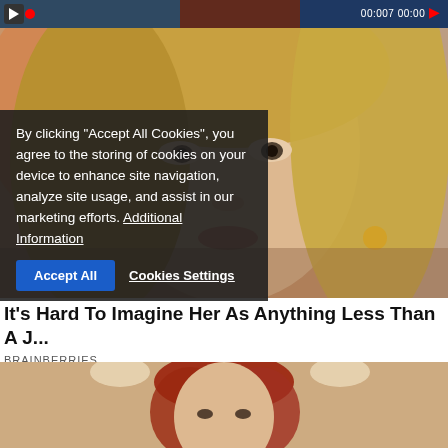[Figure (screenshot): Video thumbnail strip at top showing dark background with red record dot and timestamp 00:007 00:00]
[Figure (photo): Close-up photo of a blonde woman (celebrity) looking directly at camera, warm tones]
By clicking "Accept All Cookies", you agree to the storing of cookies on your device to enhance site navigation, analyze site usage, and assist in our marketing efforts. Additional Information
Accept All    Cookies Settings
It's Hard To Imagine Her As Anything Less Than A J...
BRAINBERRIES
[Figure (photo): Photo of a red-haired woman, partial view at bottom of page]